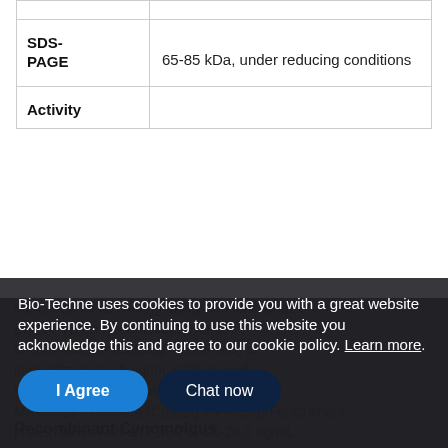| Property | Value |
| --- | --- |
| SDS-PAGE | 65-85 kDa, under reducing conditions |
| Activity | Measured by its binding ability in a functional ELISA. When Recombinant Human CA125/MUC16 (Catalog # 5609-MU) is immobilized at 0.5 ug/mL (100 µL/well), Recombinant Cynomolgus Monkey Mesothelin, Chimera (Catalog # PF-093)/Fc, Chimera protein binds with an ED50 of 4.0-20.0 ng/mL. |
Bio-Techne uses cookies to provide you with a great website experience. By continuing to use this website you acknowledge this and agree to our cookie policy. Learn more.
Recombinant Cynomolgus